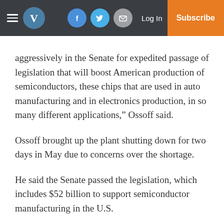V | Log In | Subscribe
aggressively in the Senate for expedited passage of legislation that will boost American production of semiconductors, these chips that are used in auto manufacturing and in electronics production, in so many different applications,” Ossoff said.
Ossoff brought up the plant shutting down for two days in May due to concerns over the shortage.
He said the Senate passed the legislation, which includes $52 billion to support semiconductor manufacturing in the U.S.